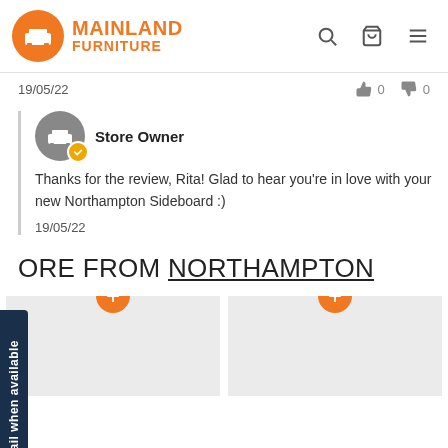[Figure (logo): Mainland Furniture logo with orange circle and text]
19/05/22
0  0
Store Owner
Thanks for the review, Rita! Glad to hear you're in love with your new Northampton Sideboard :)
19/05/22
ORE FROM NORTHAMPTON
Email when available